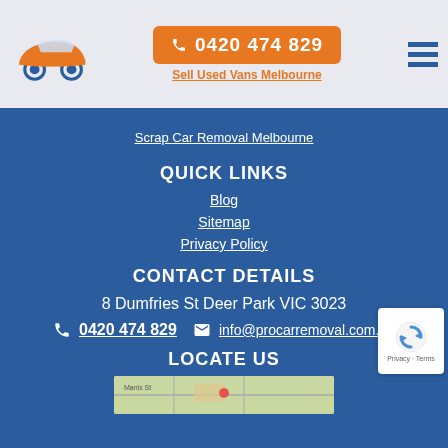0420 474 829 | Sell Used Vans Melbourne
Scrap Car Removal Melbourne
QUICK LINKS
Blog
Sitemap
Privacy Policy
CONTACT DETAILS
8 Dumfries St Deer Park VIC 3023
0420 474 829   info@procarremoval.com.au
LOCATE US
[Figure (map): Google Maps preview showing location near Deer Park VIC]